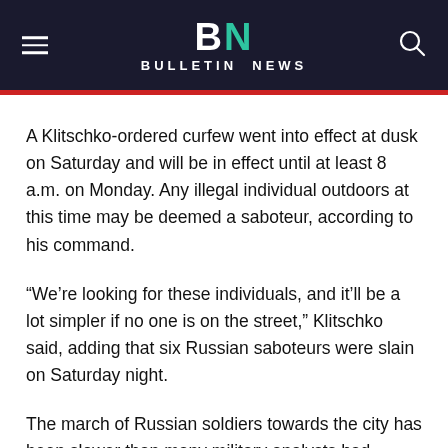BN BULLETIN NEWS
A Klitschko-ordered curfew went into effect at dusk on Saturday and will be in effect until at least 8 a.m. on Monday. Any illegal individual outdoors at this time may be deemed a saboteur, according to his command.
“We’re looking for these individuals, and it’ll be a lot simpler if no one is on the street,” Klitschko said, adding that six Russian saboteurs were slain on Saturday night.
The march of Russian soldiers towards the city has been slower than many military analysts had predicted, but the overall Russian military superiority is well-known.
“I just had a conversation with the president” (Volodymyr Zelenskyy). “Everyone is in a bad mood,” Klitschko said, adding